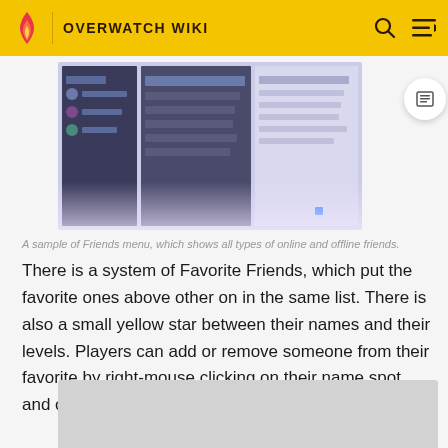OVERWATCH WIKI
[Figure (screenshot): A screenshot of the Overwatch Friends menu showing online and offline friends in a list interface.]
A sample of Friends menu, which shows all types of online and offline friends.
There is a system of Favorite Friends, which put the favorite ones above other on in the same list. There is also a small yellow star between their names and their levels. Players can add or remove someone from their favorite by right-mouse clicking on their name spot and choosing the appropriate option.
[Figure (screenshot): Bottom portion of a screenshot, partially visible.]